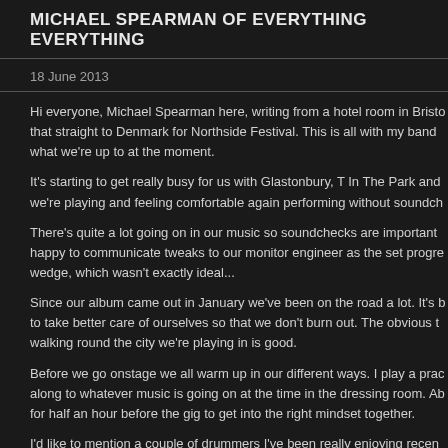MICHAEL SPEARMAN OF EVERYTHING EVERYTHING
18 June 2013
Hi everyone, Michael Spearman here, writing from a hotel room in Bristol before heading that straight to Denmark for Northside Festival. This is all with my band and I wanted to share what we're up to at the moment.
It's starting to get really busy for us with Glastonbury, T In The Park and we're playing and feeling comfortable again performing without soundchecks.
There's quite a lot going on in our music so soundchecks are important and being happy to communicate tweaks to our monitor engineer as the set progresses. wedge, which wasn't exactly ideal...
Since our album came out in January we've been on the road a lot. It's been important to take better care of ourselves so that we don't burn out. The obvious thing like walking round the city we're playing in is good.
Before we go onstage we all warm up in our different ways. I play a practice pad and sing along to whatever music is going on at the time in the dressing room. All of us spend time for half an hour before the gig to get into the right mindset together.
I'd like to mention a couple of drummers I've been really enjoying recently who have that sort of Tony Williams/Vinnie Colaiuta fire in their playing that I love. Recently (Grace Jones, Adele) about drums and drumming and we realised that B should check him out. My chat with Leo should be online soon so keep a look out about his craft.